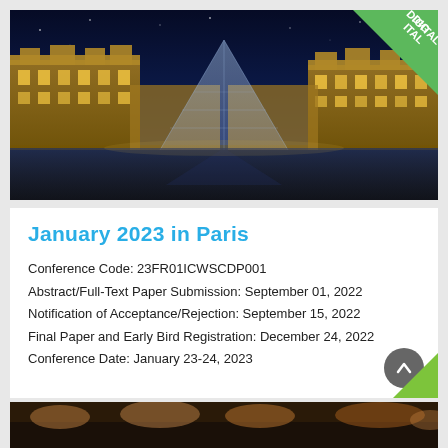[Figure (photo): Night photo of the Louvre museum in Paris with the glass pyramid illuminated, featuring ornate palace buildings lit in warm golden light against a deep blue night sky. A 'DIGITAL' green corner ribbon badge is visible in the top-right corner.]
January 2023 in Paris
Conference Code: 23FR01ICWSCDP001
Abstract/Full-Text Paper Submission: September 01, 2022
Notification of Acceptance/Rejection: September 15, 2022
Final Paper and Early Bird Registration: December 24, 2022
Conference Date: January 23-24, 2023
[Figure (photo): Partial bottom strip showing a crowd photo at another conference venue.]